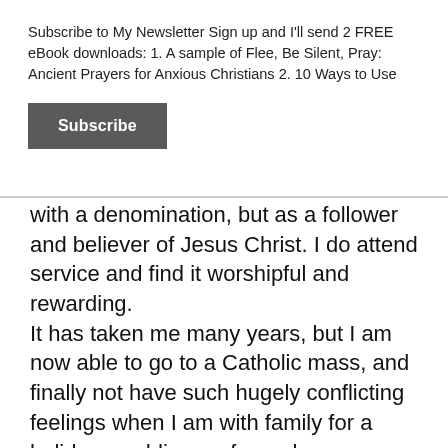Subscribe to My Newsletter Sign up and I'll send 2 FREE eBook downloads: 1. A sample of Flee, Be Silent, Pray: Ancient Prayers for Anxious Christians 2. 10 Ways to Use
Subscribe
with a denomination, but as a follower and believer of Jesus Christ. I do attend service and find it worshipful and rewarding.
It has taken me many years, but I am now able to go to a Catholic mass, and finally not have such hugely conflicting feelings when I am with family for a holiday, wedding, or funeral.
I also have experienced similar control issues with Protestant traditions, so I know none are exempt. But I had found